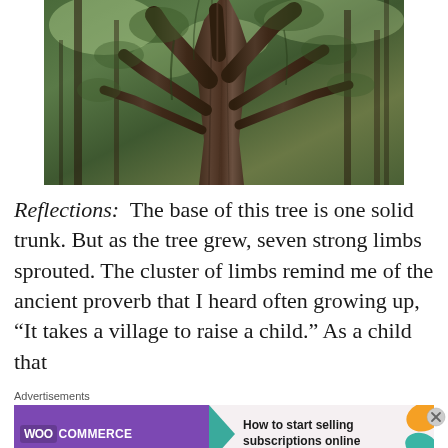[Figure (photo): A photograph of a large tree with a thick base trunk that splits into multiple strong limbs, surrounded by a dense green forest with foliage and other trees in the background.]
Reflections: The base of this tree is one solid trunk. But as the tree grew, seven strong limbs sprouted. The cluster of limbs remind me of the ancient proverb that I heard often growing up, “It takes a village to raise a child.” As a child that
Advertisements